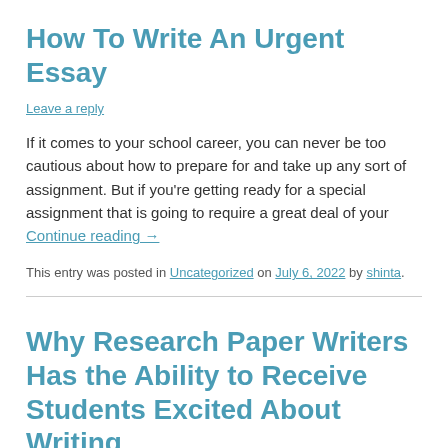How To Write An Urgent Essay
Leave a reply
If it comes to your school career, you can never be too cautious about how to prepare for and take up any sort of assignment. But if you're getting ready for a special assignment that is going to require a great deal of your
Continue reading →
This entry was posted in Uncategorized on July 6, 2022 by shinta.
Why Research Paper Writers Has the Ability to Receive Students Excited About Writing